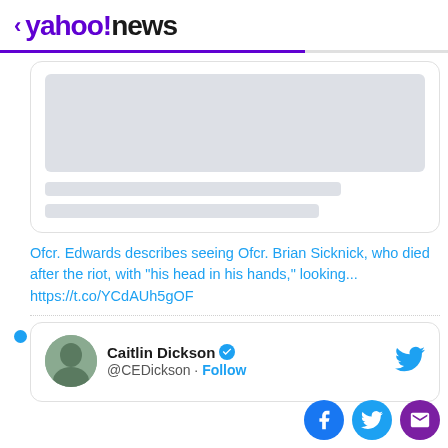< yahoo!news
[Figure (screenshot): Placeholder tweet card with gray image block and two gray placeholder text lines]
Ofcr. Edwards describes seeing Ofcr. Brian Sicknick, who died after the riot, with "his head in his hands," looking... https://t.co/YCdAUh5gOF
[Figure (screenshot): Tweet card showing Caitlin Dickson @CEDickson with verified badge and Follow button, Twitter bird icon top right, user avatar on left]